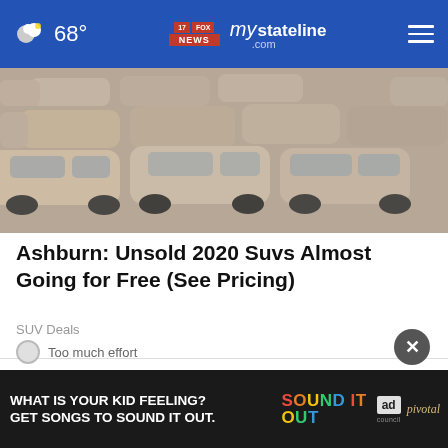68° mystateline.com
[Figure (photo): Aerial view of a large parking lot filled with rows of unsold SUVs and sedans, dusty/sandy conditions]
Ashburn: Unsold 2020 Suvs Almost Going for Free (See Pricing)
SUV Deals
WHAT DO YOU THINK?
Broadly speaking, do you think news organizations in the US make enough effort
[Figure (screenshot): Advertisement banner: WHAT IS YOUR KID FEELING? GET SONGS TO SOUND IT OUT. Sound It Out ad council pivotal]
Too much effort